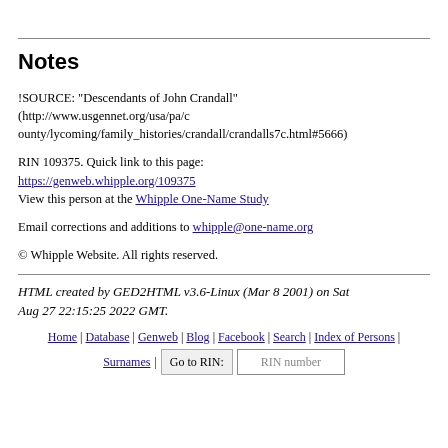Notes
!SOURCE: "Descendants of John Crandall" (http://www.usgennet.org/usa/pa/county/lycoming/family_histories/crandall/crandalls7c.html#5666)
RIN 109375. Quick link to this page: https://genweb.whipple.org/109375
View this person at the Whipple One-Name Study
Email corrections and additions to whipple@one-name.org
© Whipple Website. All rights reserved.
HTML created by GED2HTML v3.6-Linux (Mar 8 2001) on Sat Aug 27 22:15:25 2022 GMT.
Home | Database | Genweb | Blog | Facebook | Search | Index of Persons | Surnames | Go to RIN: [RIN number]